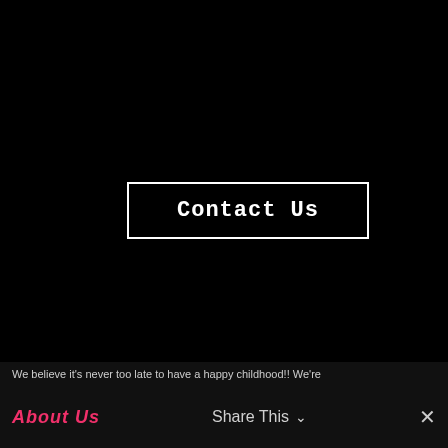Contact Us
About Us
About Us
Share This ∨
×
We believe it's never too late to have a happy childhood!! We're